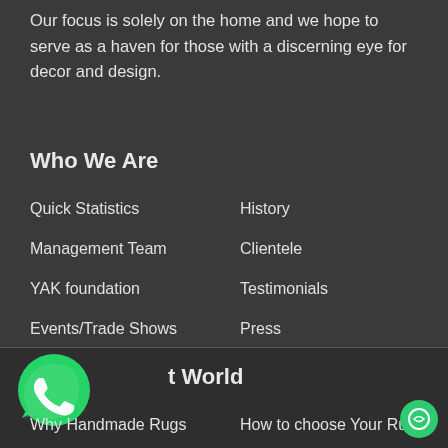Our focus is solely on the home and we hope to serve as a haven for those with a discerning eye for decor and design.
Who We Are
Quick Statistics
Management Team
YAK foundation
Events/Trade Shows
Career
History
Clientele
Testimonials
Press
Sitemap
[Figure (illustration): Scroll-to-top button: circular grey button with upward chevron arrow]
Rug World
[Figure (logo): WhatsApp icon: green circle with white phone handset]
Why Handmade Rugs
How to choose Your Rug
[Figure (illustration): Chat button: small teal circle with chat icon, bottom right corner]